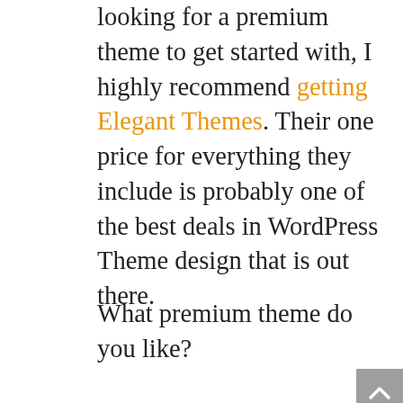looking for a premium theme to get started with, I highly recommend getting Elegant Themes. Their one price for everything they include is probably one of the best deals in WordPress Theme design that is out there.
What premium theme do you like?
UPDATE: Elegant Themes released DIVI 2.4 which has amazing new features that probably address many of my concerns on this post. I will be testing out the new